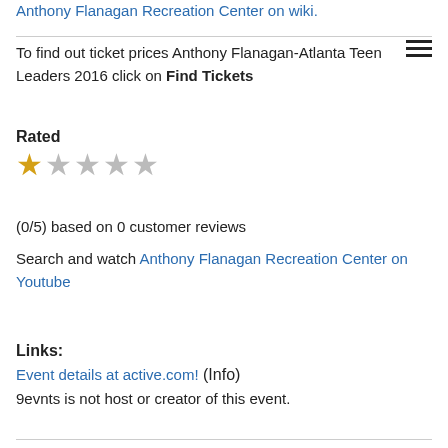Anthony Flanagan Recreation Center on wiki.
To find out ticket prices Anthony Flanagan-Atlanta Teen Leaders 2016 click on Find Tickets
Rated
★☆☆☆☆
(0/5) based on 0 customer reviews
Search and watch Anthony Flanagan Recreation Center on Youtube
Links:
Event details at active.com! (Info)
9evnts is not host or creator of this event.